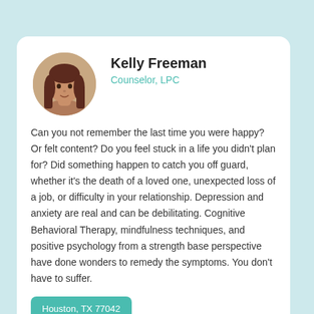Kelly Freeman
Counselor, LPC
Can you not remember the last time you were happy? Or felt content? Do you feel stuck in a life you didn't plan for? Did something happen to catch you off guard, whether it's the death of a loved one, unexpected loss of a job, or difficulty in your relationship. Depression and anxiety are real and can be debilitating. Cognitive Behavioral Therapy, mindfulness techniques, and positive psychology from a strength base perspective have done wonders to remedy the symptoms. You don't have to suffer.
Houston, TX 77042
18.1 Miles away